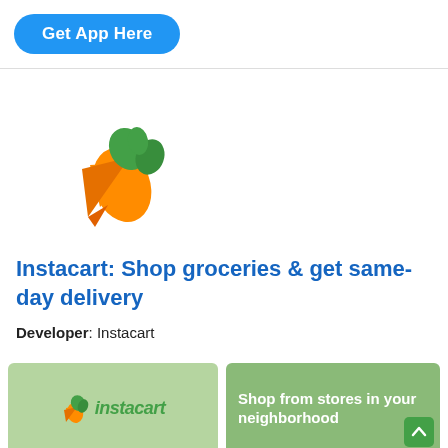Get App Here
[Figure (logo): Instacart carrot logo — orange carrot with green leafy top]
Instacart: Shop groceries & get same-day delivery
Developer: Instacart
[Figure (screenshot): App screenshot left: light green background with small Instacart carrot logo and 'instacart' text in green italic]
[Figure (screenshot): App screenshot right: medium green background with white bold text 'Shop from stores in your neighborhood' and a green scroll-up button]